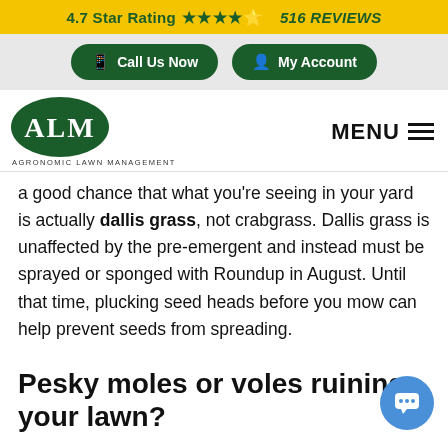4.7 Star Rating ★★★★½ 516 REVIEWS
Call Us Now | My Account
[Figure (logo): ALM Agronomic Lawn Management oval green logo with MENU hamburger icon]
a good chance that what you're seeing in your yard is actually dallis grass, not crabgrass. Dallis grass is unaffected by the pre-emergent and instead must be sprayed or sponged with Roundup in August. Until that time, plucking seed heads before you mow can help prevent seeds from spreading.
Pesky moles or voles ruining your lawn?
Moles and voles are known for digging tunnels